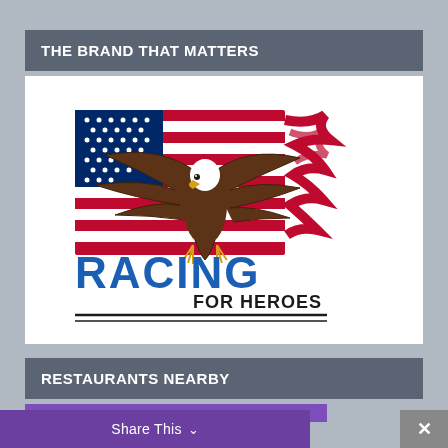THE BRAND THAT MATTERS
[Figure (logo): Racing For Heroes logo featuring a bald eagle with wings spread over a waving American flag, with the text RACING in large bold blue letters and FOR HEROES in black letters below, with two horizontal black lines beneath]
RESTAURANTS NEARBY
Share This ∨